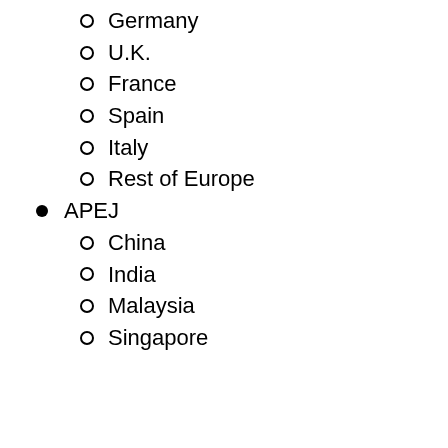Germany
U.K.
France
Spain
Italy
Rest of Europe
APEJ
China
India
Malaysia
Singapore